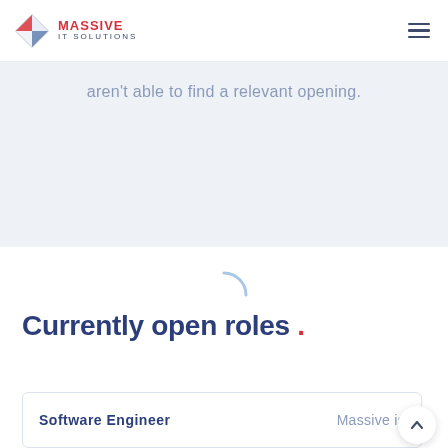MASSIVE IT SOLUTIONS
aren't able to find a relevant opening.
[Figure (other): Loading spinner icon (partial circle arc in light blue)]
Currently open roles .
Software Engineer    Massive is